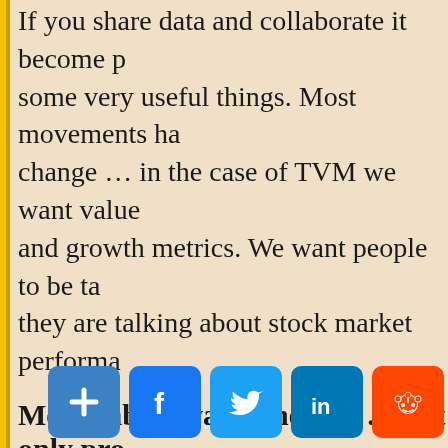If you share data and collaborate it become some very useful things. Most movements h change … in the case of TVM we want valu and growth metrics. We want people to be ta they are talking about stock market performa
Media about value metrics … not only pr
Bloomberg News does corporate profit, sto a day seven days a week on Bloomberg term media as well. When every community on th economic progress and performance … we w
Social networks
Social networks have e that these networks are
[Figure (screenshot): Social sharing buttons bar: share (+), Facebook (f), Twitter bird, LinkedIn (in), Reddit alien icon]